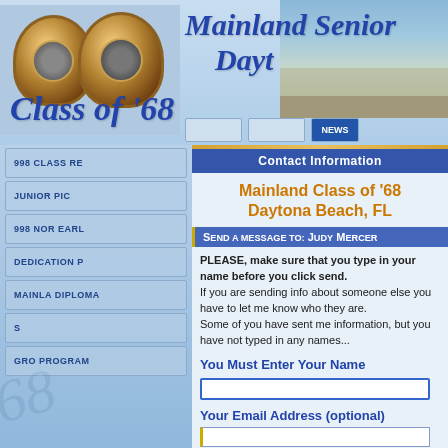[Figure (screenshot): Website header banner with class rings image, 'Mainland Senior' and 'Dayt...' title in italic blue, 'Class of '68' script text, and navigation buttons]
Contact Information
Mainland Class of '68
Daytona Beach, FL
Send a message to: Judy Mercer
PLEASE, make sure that you type in your name before you click send. If you are sending info about someone else you have to let me know who they are. Some of you have sent me information, but you have not typed in any names...
You Must Enter Your Name
Your Email Address (optional)
Subject: Reunion Video